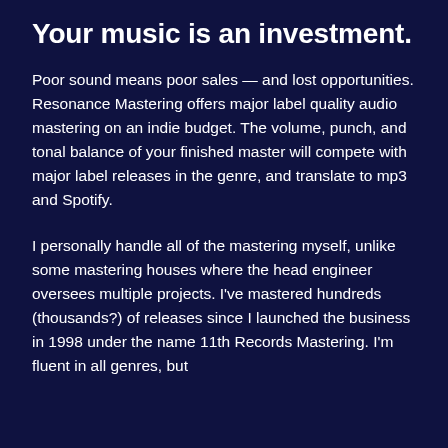Your music is an investment.
Poor sound means poor sales — and lost opportunities. Resonance Mastering offers major label quality audio mastering on an indie budget. The volume, punch, and tonal balance of your finished master will compete with major label releases in the genre, and translate to mp3 and Spotify.
I personally handle all of the mastering myself, unlike some mastering houses where the head engineer oversees multiple projects. I've mastered hundreds (thousands?) of releases since I launched the business in 1998 under the name 11th Records Mastering. I'm fluent in all genres, but